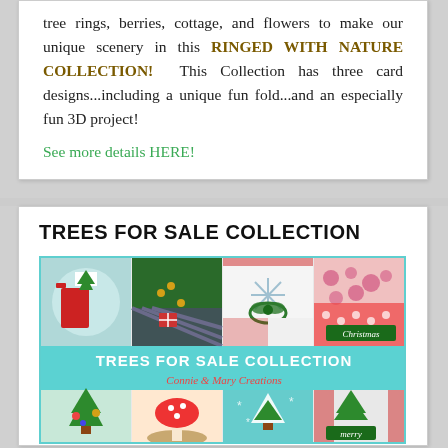tree rings, berries, cottage, and flowers to make our unique scenery in this RINGED WITH NATURE COLLECTION! This Collection has three card designs...including a unique fun fold...and an especially fun 3D project!
See more details HERE!
TREES FOR SALE COLLECTION
[Figure (photo): Collage photo showing Trees for Sale Collection by Connie & Mary Creations — multiple Christmas card designs with trees, ribbons, and holiday decorations arranged in a grid with teal border and text overlay]